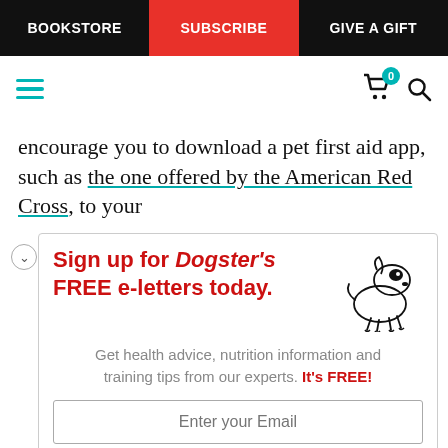BOOKSTORE | SUBSCRIBE | GIVE A GIFT
[Figure (screenshot): Navigation icon bar with hamburger menu (teal), shopping cart with badge 0, and search icon]
encourage you to download a pet first aid app, such as the one offered by the American Red Cross, to your
[Figure (infographic): Dogster newsletter sign-up promotional box with illustrated dog graphic, headline 'Sign up for Dogster's FREE e-letters today.', subtext 'Get health advice, nutrition information and training tips from our experts. It's FREE!', email input field, and red 'YES! SIGN ME UP' button]